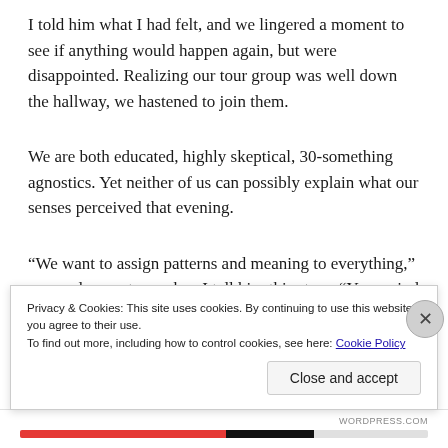I told him what I had felt, and we lingered a moment to see if anything would happen again, but were disappointed. Realizing our tour group was well down the hallway, we hastened to join them.
We are both educated, highly skeptical, 30-something agnostics. Yet neither of us can possibly explain what our senses perceived that evening.
“We want to assign patterns and meaning to everything,” my uncle counters, when I tell him this story. “Your mind plays tricks on you, especially with the power of suggestion.” He tells me about an email he received from a long-lost friend, just as he was about to send him a
Privacy & Cookies: This site uses cookies. By continuing to use this website, you agree to their use.
To find out more, including how to control cookies, see here: Cookie Policy
Close and accept